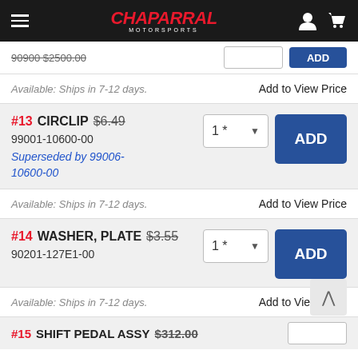Chaparal Motorsports
Available: Ships in 7-12 days.   Add to View Price
#13 CIRCLIP $6.49  99001-10600-00  Superseded by 99006-10600-00
Available: Ships in 7-12 days.   Add to View Price
#14 WASHER, PLATE $3.55  90201-127E1-00
Available: Ships in 7-12 days.   Add to View Price